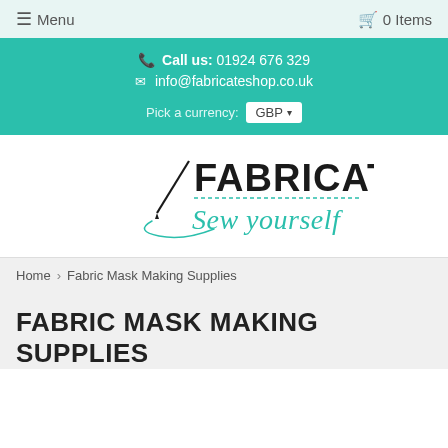☰ Menu   🛒 0 Items
Call us: 01924 676 329
info@fabricateshop.co.uk
Pick a currency: GBP
[Figure (logo): Fabricate Sew yourself logo with needle and thread illustration]
Home › Fabric Mask Making Supplies
FABRIC MASK MAKING SUPPLIES